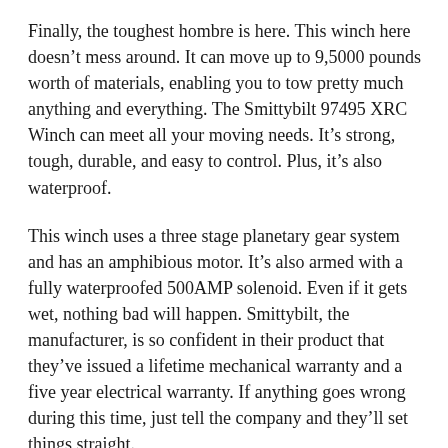Finally, the toughest hombre is here. This winch here doesn't mess around. It can move up to 9,5000 pounds worth of materials, enabling you to tow pretty much anything and everything. The Smittybilt 97495 XRC Winch can meet all your moving needs. It's strong, tough, durable, and easy to control. Plus, it's also waterproof.
This winch uses a three stage planetary gear system and has an amphibious motor. It's also armed with a fully waterproofed 500AMP solenoid. Even if it gets wet, nothing bad will happen. Smittybilt, the manufacturer, is so confident in their product that they've issued a lifetime mechanical warranty and a five year electrical warranty. If anything goes wrong during this time, just tell the company and they'll set things straight.